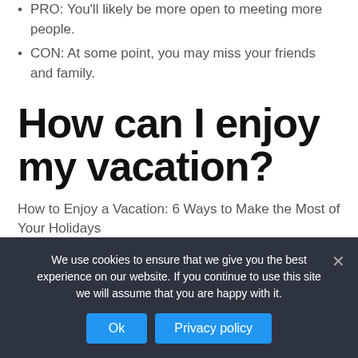PRO: You'll likely be more open to meeting more people.
CON: At some point, you may miss your friends and family.
How can I enjoy my vacation?
How to Enjoy a Vacation: 6 Ways to Make the Most of Your Holidays
We use cookies to ensure that we give you the best experience on our website. If you continue to use this site we will assume that you are happy with it.